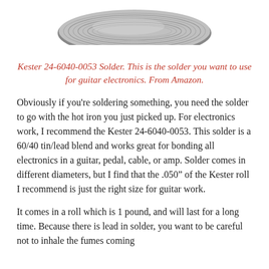[Figure (photo): Partial view of a spool of Kester solder wire, showing coiled silver metallic wire from above]
Kester 24-6040-0053 Solder. This is the solder you want to use for guitar electronics. From Amazon.
Obviously if you're soldering something, you need the solder to go with the hot iron you just picked up. For electronics work, I recommend the Kester 24-6040-0053. This solder is a 60/40 tin/lead blend and works great for bonding all electronics in a guitar, pedal, cable, or amp. Solder comes in different diameters, but I find that the .050" of the Kester roll I recommend is just the right size for guitar work.
It comes in a roll which is 1 pound, and will last for a long time. Because there is lead in solder, you want to be careful not to inhale the fumes coming